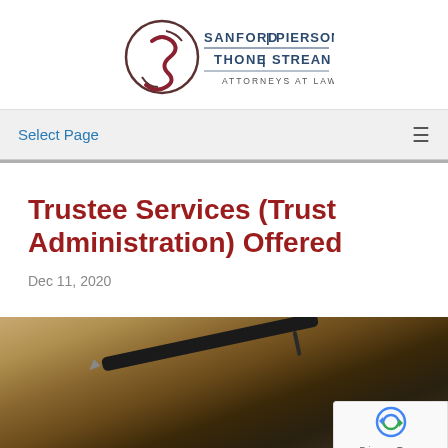[Figure (logo): Sanford Pierson Thone Strean Attorneys at Law law firm logo with circular S monogram]
Select Page
Trustee Services (Trust Administration) Offered
Dec 11, 2020
[Figure (photo): Blurred photo of a pen resting on legal documents with warm golden/brown tones]